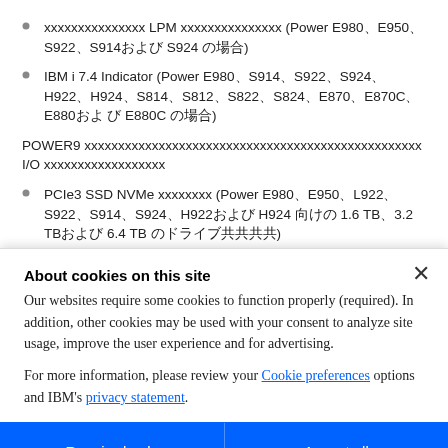xxxxxxxx LPM xxxxx (Power E980、E950、S922、S914および S924 の場合)
IBM i 7.4 Indicator (Power E980、S914、S922、S924、H922、H924、S814、S812、S822、S824、E870、E870C、E880および E880C の場合)
POWER9 のシステムでサポートされるアダプターと I/O カードボイラー
PCIe3 SSD NVMe アダプター (Power E980、E950、L922、S922、S914、S924、H922および H924 向けの 1.6 TB、3.2 TBおよび 6.4 TB のドライブ共共)
xxxxxxxx 1.6 TB および 3.2 TB SSD NVMe U.2 ドライブ (Power E980 の場合)
PCIe3 アダプターPCIe3 6 スロット共共共共共共PCIe x16 および CXP Optical 共共
About cookies on this site
Our websites require some cookies to function properly (required). In addition, other cookies may be used with your consent to analyze site usage, improve the user experience and for advertising.

For more information, please review your Cookie preferences options and IBM's privacy statement.
Required only
Accept all